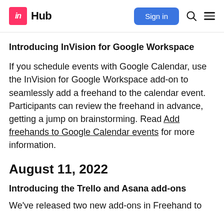in Hub | Sign in
Introducing InVision for Google Workspace
If you schedule events with Google Calendar, use the InVision for Google Workspace add-on to seamlessly add a freehand to the calendar event. Participants can review the freehand in advance, getting a jump on brainstorming. Read Add freehands to Google Calendar events for more information.
August 11, 2022
Introducing the Trello and Asana add-ons
We've released two new add-ons in Freehand to